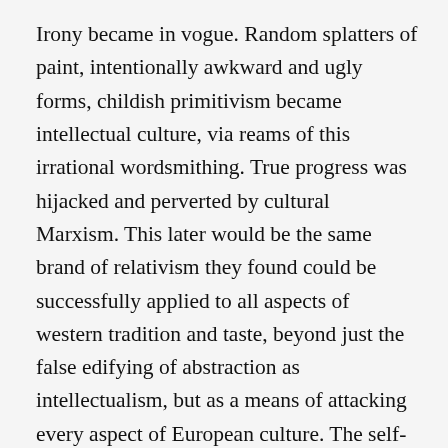Irony became in vogue. Random splatters of paint, intentionally awkward and ugly forms, childish primitivism became intellectual culture, via reams of this irrational wordsmithing. True progress was hijacked and perverted by cultural Marxism. This later would be the same brand of relativism they found could be successfully applied to all aspects of western tradition and taste, beyond just the false edifying of abstraction as intellectualism, but as a means of attacking every aspect of European culture. The self-eating snake, wracked with guilt, wallowing in weakness and trembling with pity. Their success in art criticism and art theory not only paved the way for total decadence, but the same insane...